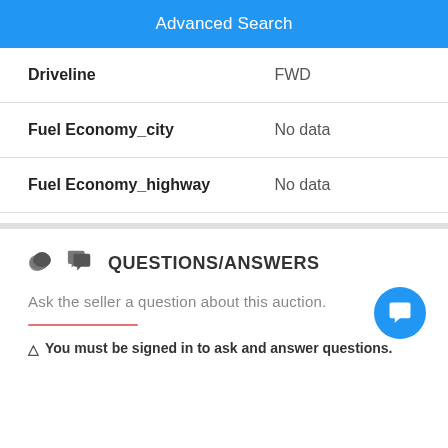Advanced Search
| Field | Value |
| --- | --- |
| Driveline | FWD |
| Fuel Economy_city | No data |
| Fuel Economy_highway | No data |
QUESTIONS/ANSWERS
Ask the seller a question about this auction.
You must be signed in to ask and answer questions.